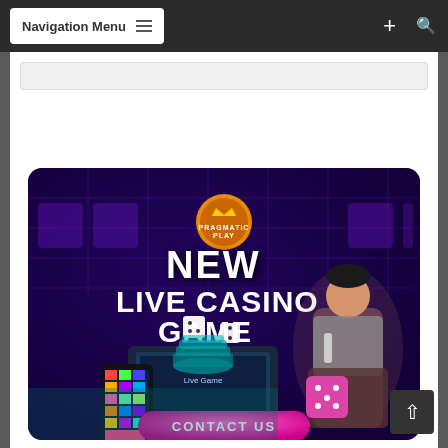Navigation Menu
[Figure (screenshot): Mobile website screenshot showing a navigation bar with Navigation Menu button, hamburger icon, plus and search icons, a search bar below, and a Pragmatic Play New Live Casino Game promotional banner advertisement at the bottom with a Contact Us button]